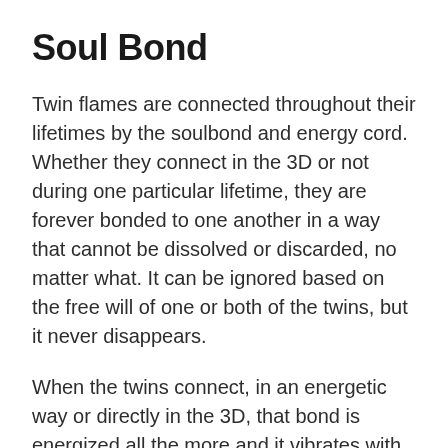Soul Bond
Twin flames are connected throughout their lifetimes by the soulbond and energy cord. Whether they connect in the 3D or not during one particular lifetime, they are forever bonded to one another in a way that cannot be dissolved or discarded, no matter what. It can be ignored based on the free will of one or both of the twins, but it never disappears.
When the twins connect, in an energetic way or directly in the 3D, that bond is energized all the more and it vibrates with awareness. It ignites all the memories of lifetimes past in both of your energies, even if you may or